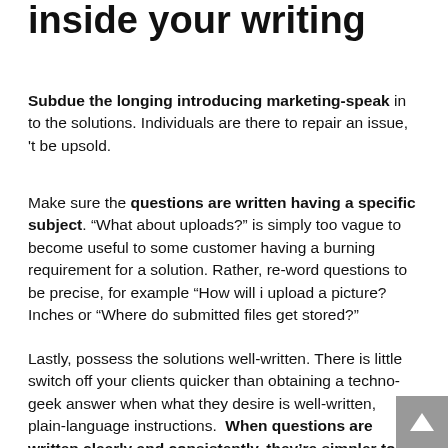inside your writing
Subdue the longing introducing marketing-speak in to the solutions. Individuals are there to repair an issue, 't be upsold.
Make sure the questions are written having a specific subject. “What about uploads?” is simply too vague to become useful to some customer having a burning requirement for a solution. Rather, re-word questions to be precise, for example “How will i upload a picture?Inches or “Where do submitted files get stored?”
Lastly, possess the solutions well-written. There is little switch off your clients quicker than obtaining a techno-geek answer when what they desire is well-written, plain-language instructions. When questions are written clearly and consistently, they’re simpler to scan, that makes it much more likely that the customer could keep searching to